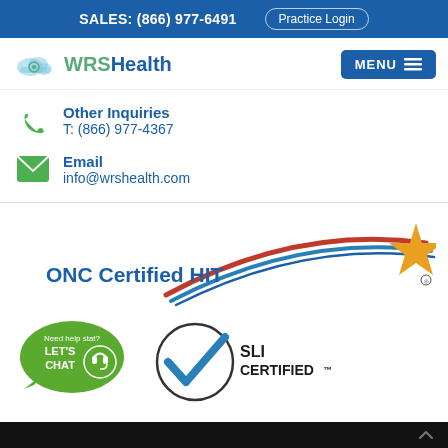SALES: (866) 977-6491   Practice Login
[Figure (logo): WRS Health logo with cloud icon]
MENU
Other Inquiries
T: (866) 977-4367
Email
info@wrshealth.com
[Figure (logo): ONC Certified HIT logo with swoosh and star]
[Figure (logo): SLI Certified logo with checkmark in circle]
[Figure (logo): Need help stat? Let's Chat button with headset icon]